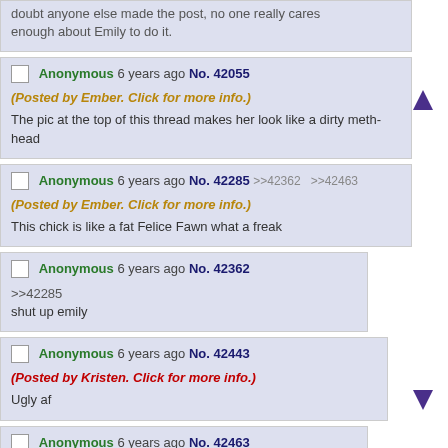doubt anyone else made the post, no one really cares enough about Emily to do it.
Anonymous 6 years ago No. 42055
(Posted by Ember. Click for more info.)
The pic at the top of this thread makes her look like a dirty meth-head
Anonymous 6 years ago No. 42285 >>42362 >>42463
(Posted by Ember. Click for more info.)
This chick is like a fat Felice Fawn what a freak
Anonymous 6 years ago No. 42362
>>42285
shut up emily
Anonymous 6 years ago No. 42443
(Posted by Kristen. Click for more info.)
Ugly af
Anonymous 6 years ago No. 42463
>>42285
Shh are one scum shhh